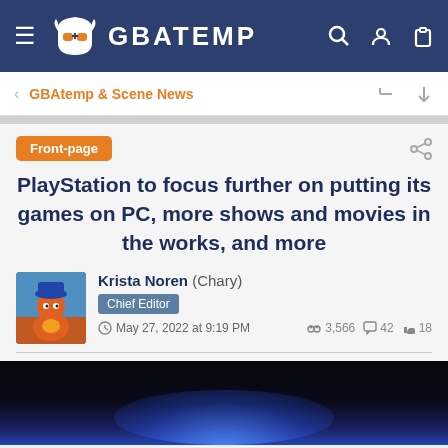GBATEMP
GBAtemp & Scene News
Front-page
PlayStation to focus further on putting its games on PC, more shows and movies in the works, and more
Krista Noren (Chary) Chief Editor May 27, 2022 at 9:19 PM  3,566  42  18
[Figure (screenshot): Dark blue glowing image at bottom of article page, appears to be a PlayStation-related image]